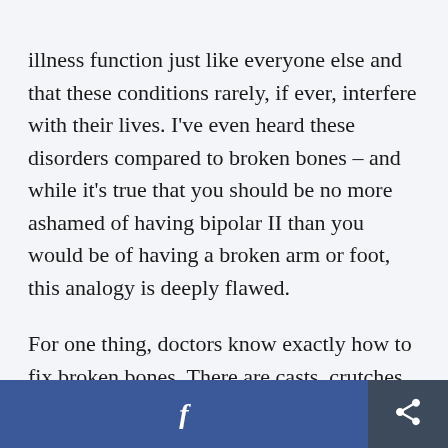illness function just like everyone else and that these conditions rarely, if ever, interfere with their lives. I've even heard these disorders compared to broken bones – and while it's true that you should be no more ashamed of having bipolar II than you would be of having a broken arm or foot, this analogy is deeply flawed.
For one thing, doctors know exactly how to fix broken bones. There are casts, crutches, slings, and surgeries – and though the treatment plan varies
f  [share icon]